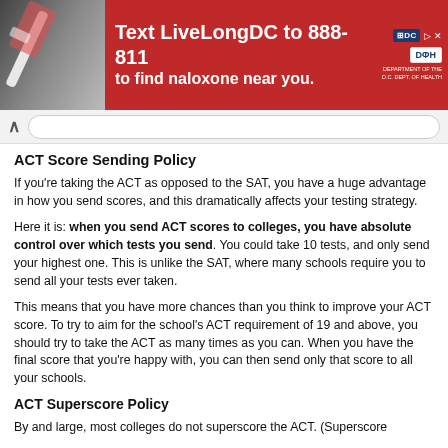[Figure (infographic): Red advertisement banner: 'Text LiveLongDC to 888-811 to find naloxone near you.' with DC and DHH logos and a photo of a syringe/naloxone package on the left.]
ACT Score Sending Policy
If you're taking the ACT as opposed to the SAT, you have a huge advantage in how you send scores, and this dramatically affects your testing strategy.
Here it is: when you send ACT scores to colleges, you have absolute control over which tests you send. You could take 10 tests, and only send your highest one. This is unlike the SAT, where many schools require you to send all your tests ever taken.
This means that you have more chances than you think to improve your ACT score. To try to aim for the school's ACT requirement of 19 and above, you should try to take the ACT as many times as you can. When you have the final score that you're happy with, you can then send only that score to all your schools.
ACT Superscore Policy
By and large, most colleges do not superscore the ACT. (Superscore